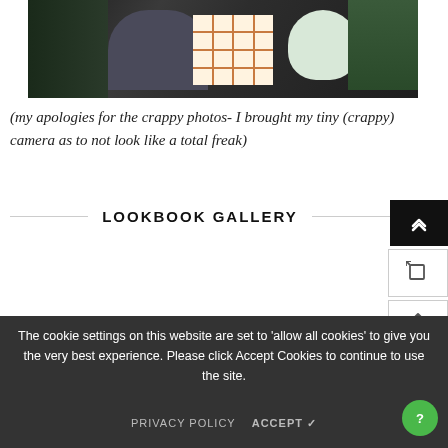[Figure (photo): A dark tabletop scene showing various objects including books, a mushroom-shaped item, an orange grid-patterned box or book, a white bowl, and a plant with green leaves against a dark background.]
(my apologies for the crappy photos- I brought my tiny (crappy) camera as to not look like a total freak)
LOOKBOOK GALLERY
Sample Block Quote
The cookie settings on this website are set to 'allow all cookies' to give you the very best experience. Please click Accept Cookies to continue to use the site.
commodo lorem... um non mi. Maecenas ac est sit amet augue lobortis convallis nec danos.
PRIVACY POLICY   ACCEPT ✓